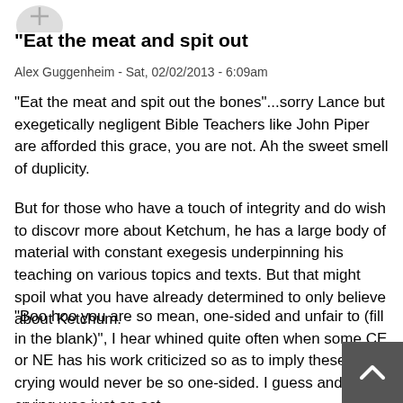[Figure (illustration): Partial avatar/profile image at top left, circular shape with a cross/plus symbol, light gray]
"Eat the meat and spit out
Alex Guggenheim - Sat, 02/02/2013 - 6:09am
"Eat the meat and spit out the bones"...sorry Lance but exegetically negligent Bible Teachers like John Piper are afforded this grace, you are not. Ah the sweet smell of duplicity.
But for those who have a touch of integrity and do wish to discovr more about Ketchum, he has a large body of material with constant exegesis underpinning his teaching on various topics and texts. But that might spoil what you have already determined to only believe about Ketchum.
"Boo hoo you are so mean, one-sided and unfair to (fill in the blank)", I hear whined quite often when some CE or NE has his work criticized so as to imply these ones crying would never be so one-sided. I guess and the crying was just an act.